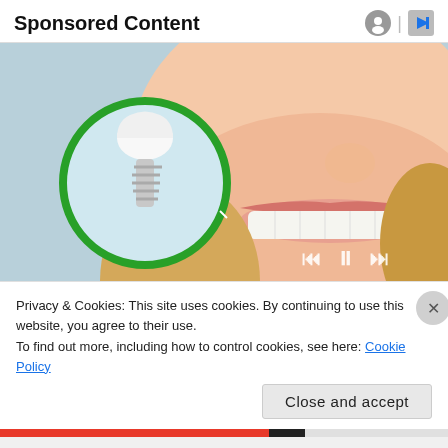Sponsored Content
[Figure (illustration): Dental implant advertisement showing a smiling woman with bright white teeth. An inset circular diagram on the left shows a dental implant (crown and screw) highlighted with a green circle border on a light blue background. Media player controls (skip back, pause, skip forward) are visible at the bottom right of the image.]
Privacy & Cookies: This site uses cookies. By continuing to use this website, you agree to their use.
To find out more, including how to control cookies, see here: Cookie Policy
Close and accept